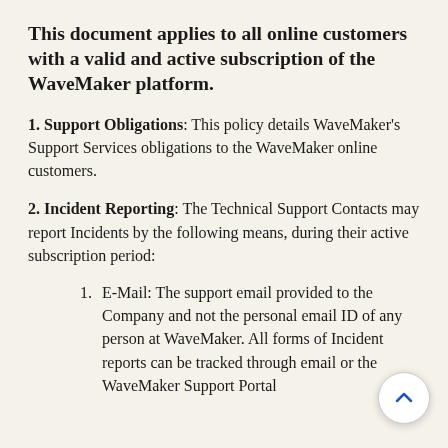This document applies to all online customers with a valid and active subscription of the WaveMaker platform.
1. Support Obligations: This policy details WaveMaker's Support Services obligations to the WaveMaker online customers.
2. Incident Reporting: The Technical Support Contacts may report Incidents by the following means, during their active subscription period:
E-Mail: The support email provided to the Company and not the personal email ID of any person at WaveMaker. All forms of Incident reports can be tracked through email or the WaveMaker Support Portal